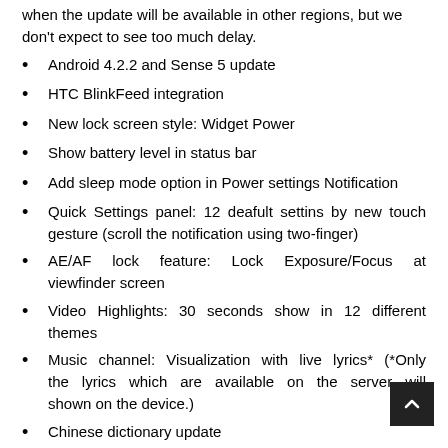when the update will be available in other regions, but we don't expect to see too much delay.
Android 4.2.2 and Sense 5 update
HTC BlinkFeed integration
New lock screen style: Widget Power
Show battery level in status bar
Add sleep mode option in Power settings Notification
Quick Settings panel: 12 deafult settins by new touch gesture (scroll the notification using two-finger)
AE/AF lock feature: Lock Exposure/Focus at viewfinder screen
Video Highlights: 30 seconds show in 12 different themes
Music channel: Visualization with live lyrics* (*Only the lyrics which are available on the server will shown on the device.)
Chinese dictionary update